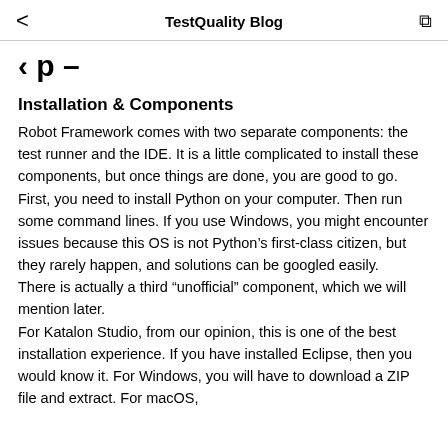TestQuality Blog
py–
Installation & Components
Robot Framework comes with two separate components: the test runner and the IDE. It is a little complicated to install these components, but once things are done, you are good to go. First, you need to install Python on your computer. Then run some command lines. If you use Windows, you might encounter issues because this OS is not Python's first-class citizen, but they rarely happen, and solutions can be googled easily.
There is actually a third “unofficial” component, which we will mention later.
For Katalon Studio, from our opinion, this is one of the best installation experience. If you have installed Eclipse, then you would know it. For Windows, you will have to download a ZIP file and extract. For macOS,